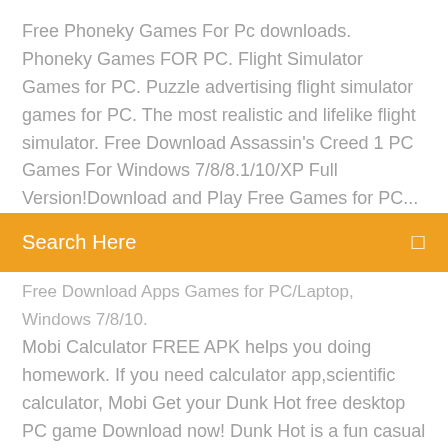Free Phoneky Games For Pc downloads. Phoneky Games FOR PC. Flight Simulator Games for PC. Puzzle advertising flight simulator games for PC. The most realistic and lifelike flight simulator. Free Download Assassin's Creed 1 PC Games For Windows 7/8/8.1/10/XP Full Version!Download and Play Free Games for PC...
Search Here
Free Download Apps Games for PC/Laptop, Windows 7/8/10. Mobi Calculator FREE APK helps you doing homework. If you need calculator app,scientific calculator, Mobi Get your Dunk Hot free desktop PC game Download now! Dunk Hot is a fun casual game that bears a semblance with the venerable Flappy Bird. So play now for free by downloading the game for PC! Level up with the best games for Windows, Mac, Android, and iOS. Get tips on the best games – adventure, strategy, or simulation games.